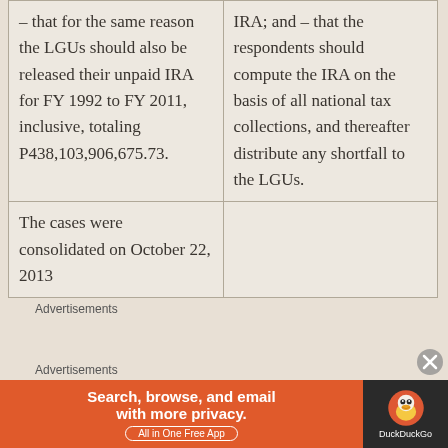| – that for the same reason the LGUs should also be released their unpaid IRA for FY 1992 to FY 2011, inclusive, totaling P438,103,906,675.73. | IRA; and – that the respondents should compute the IRA on the basis of all national tax collections, and thereafter distribute any shortfall to the LGUs. |
| The cases were consolidated on October 22, 2013 |  |
Advertisements
[Figure (infographic): DuckDuckGo advertisement banner: orange left section with text 'Search, browse, and email with more privacy. All in One Free App', dark right section with DuckDuckGo duck logo and brand name.]